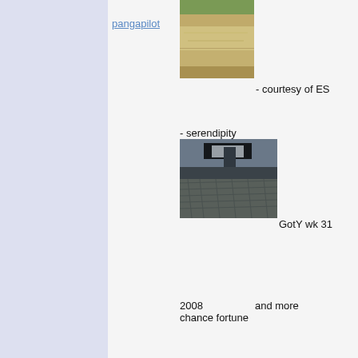pangapilot
[Figure (photo): Sandy beach/tidal flat photo, light sandy colors with rippled patterns]
- courtesy of ES
- serendipity
[Figure (photo): Dramatic black and white coastal photo with castle silhouette, dark stormy sky and rippled sand patterns]
GotY wk 31
2008                and more
chance fortune